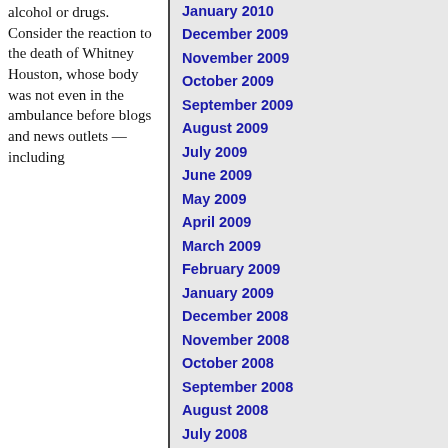alcohol or drugs. Consider the reaction to the death of Whitney Houston, whose body was not even in the ambulance before blogs and news outlets — including
January 2010
December 2009
November 2009
October 2009
September 2009
August 2009
July 2009
June 2009
May 2009
April 2009
March 2009
February 2009
January 2009
December 2008
November 2008
October 2008
September 2008
August 2008
July 2008
June 2008
May 2008
April 2008
March 2008
February 2008
January 2008
December 2007
November 2007
October 2007
September 2007
August 2007
July 2007
June 2007